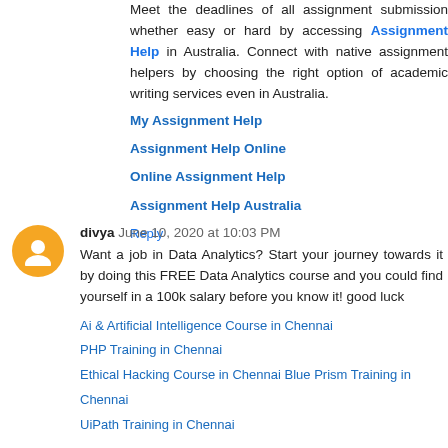Meet the deadlines of all assignment submission whether easy or hard by accessing Assignment Help in Australia. Connect with native assignment helpers by choosing the right option of academic writing services even in Australia.
My Assignment Help
Assignment Help Online
Online Assignment Help
Assignment Help Australia
Reply
divya  June 10, 2020 at 10:03 PM
Want a job in Data Analytics? Start your journey towards it by doing this FREE Data Analytics course and you could find yourself in a 100k salary before you know it! good luck
Ai & Artificial Intelligence Course in Chennai
PHP Training in Chennai
Ethical Hacking Course in Chennai Blue Prism Training in Chennai
UiPath Training in Chennai
Reply